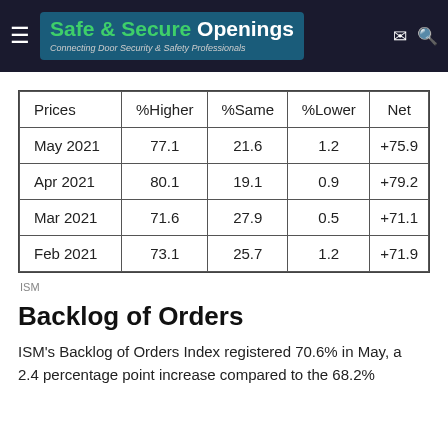Safe & Secure Openings — Connecting Door Security & Safety Professionals
| Prices | %Higher | %Same | %Lower | Net |
| --- | --- | --- | --- | --- |
| May 2021 | 77.1 | 21.6 | 1.2 | +75.9 |
| Apr 2021 | 80.1 | 19.1 | 0.9 | +79.2 |
| Mar 2021 | 71.6 | 27.9 | 0.5 | +71.1 |
| Feb 2021 | 73.1 | 25.7 | 1.2 | +71.9 |
ISM
Backlog of Orders
ISM's Backlog of Orders Index registered 70.6% in May, a 2.4 percentage point increase compared to the 68.2%